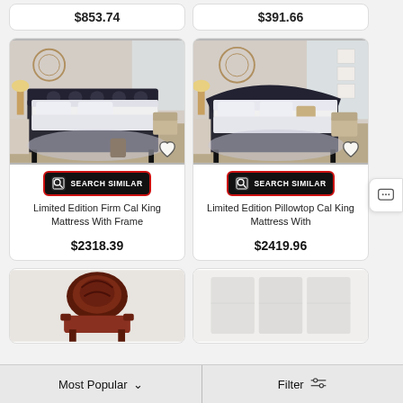$853.74
$391.66
[Figure (photo): Bedroom with dark upholstered bed and white mattress]
[Figure (photo): Bedroom with dark upholstered bed and white pillowtop mattress]
SEARCH SIMILAR
SEARCH SIMILAR
Limited Edition Firm Cal King Mattress With Frame
Limited Edition Pillowtop Cal King Mattress With
$2318.39
$2419.96
[Figure (photo): Dark ornate furniture piece]
[Figure (photo): Light gray/white headboard or panel]
Most Popular
Filter